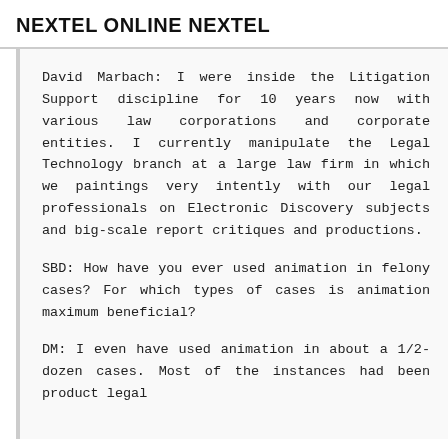NEXTEL ONLINE NEXTEL
David Marbach: I were inside the Litigation Support discipline for 10 years now with various law corporations and corporate entities. I currently manipulate the Legal Technology branch at a large law firm in which we paintings very intently with our legal professionals on Electronic Discovery subjects and big-scale report critiques and productions.
SBD: How have you ever used animation in felony cases? For which types of cases is animation maximum beneficial?
DM: I even have used animation in about a 1/2-dozen cases. Most of the instances had been product legal